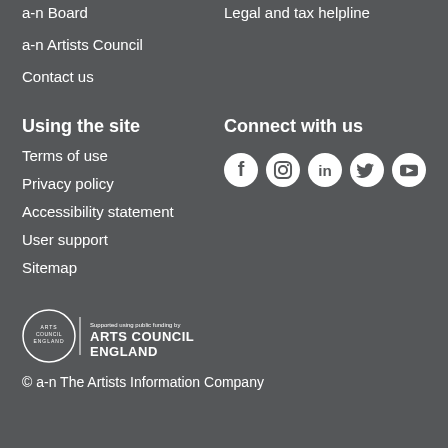a-n Board
Legal and tax helpline
a-n Artists Council
Contact us
Using the site
Connect with us
Terms of use
Privacy policy
Accessibility statement
User support
Sitemap
[Figure (infographic): Social media icons: Facebook, Instagram, LinkedIn, Twitter, YouTube]
[Figure (logo): Arts Council England logo with text: Supported using public funding by ARTS COUNCIL ENGLAND]
© a-n The Artists Information Company